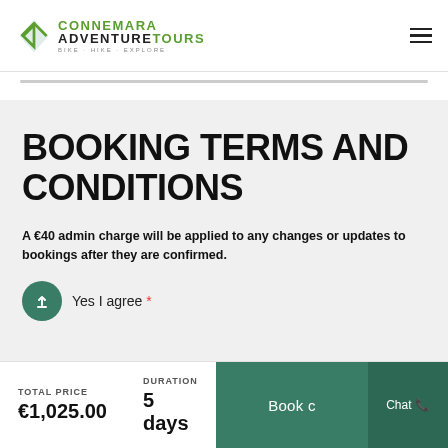CONNEMARA ADVENTURE TOURS — BIKE · HIKE · EXPLORE
BOOKING TERMS AND CONDITIONS
A €40 admin charge will be applied to any changes or updates to bookings after they are confirmed.
Yes I agree *
TOTAL PRICE €1,025.00   DURATION 5 days   Book  Chat